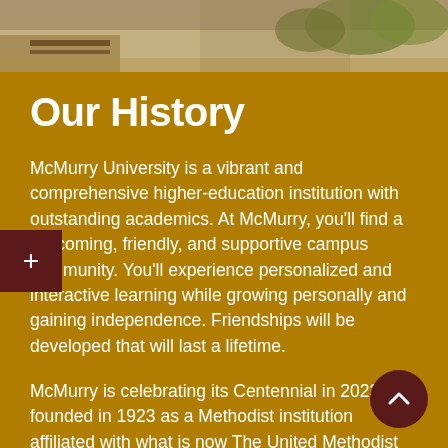[Figure (photo): Campus outdoor photo strip showing students walking, trees, and benches on a university campus]
Our History
McMurry University is a vibrant and comprehensive higher-education institution with outstanding academics. At McMurry, you'll find a welcoming, friendly, and supportive campus community. You'll experience personalized and interactive learning while growing personally and gaining independence. Friendships will be developed that will last a lifetime.
McMurry is celebrating its Centennial in 2023, founded in 1923 as a Methodist institution affiliated with what is now The United Methodist Church. McMurry enrolls more than 1,100+ students with an 11:1 student-to-faculty ratio. No graduate assistants teach courses, and 77% of our